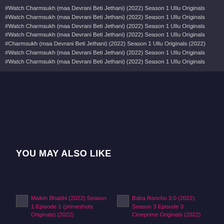#Watch Charmsukh (maa Devrani Beti Jethani) (2022) Season 1 Ullu Originals
#Watch Charmsukh (maa Devrani Beti Jethani) (2022) Season 1 Ullu Originals
#Watch Charmsukh (maa Devrani Beti Jethani) (2022) Season 1 Ullu Originals
#Watch Charmsukh (maa Devrani Beti Jethani) (2022) Season 1 Ullu Originals
#Charmsukh (maa Devrani Beti Jethani) (2022) Season 1 Ullu Originals (2022)
#Watch Charmsukh (maa Devrani Beti Jethani) (2022) Season 1 Ullu Originals
#Watch Charmsukh (maa Devrani Beti Jethani) (2022) Season 1 Ullu Originals
YOU MAY ALSO LIKE
Malkin Bhabhi (2022) Season 1 Episode 1 (primeshots Originals) (2022)
Baba Rancho 3.0 (2022) Season 3 Episode 3 Cineprime Originals (2022)